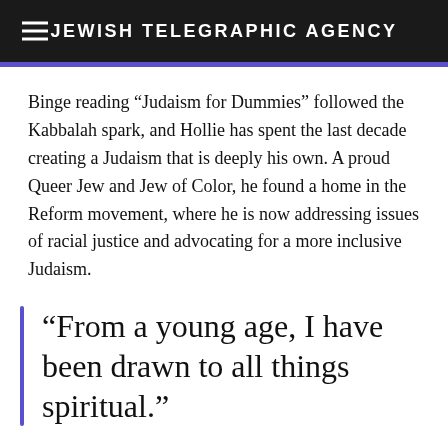JEWISH TELEGRAPHIC AGENCY
Binge reading “Judaism for Dummies” followed the Kabbalah spark, and Hollie has spent the last decade creating a Judaism that is deeply his own. A proud Queer Jew and Jew of Color, he found a home in the Reform movement, where he is now addressing issues of racial justice and advocating for a more inclusive Judaism.
“From a young age, I have been drawn to all things spiritual.”
“Approach people as people, not as archetypes,” said Hollie